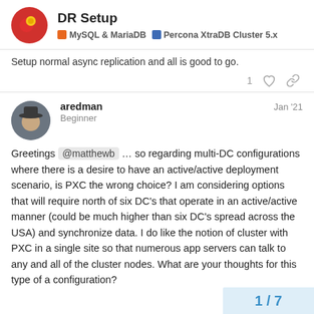DR Setup — MySQL & MariaDB | Percona XtraDB Cluster 5.x
Setup normal async replication and all is good to go.
aredman Jan '21 Beginner
Greetings @matthewb … so regarding multi-DC configurations where there is a desire to have an active/active deployment scenario, is PXC the wrong choice? I am considering options that will require north of six DC's that operate in an active/active manner (could be much higher than six DC's spread across the USA) and synchronize data. I do like the notion of cluster with PXC in a single site so that numerous app servers can talk to any and all of the cluster nodes. What are your thoughts for this type of a configuration?
1 / 7